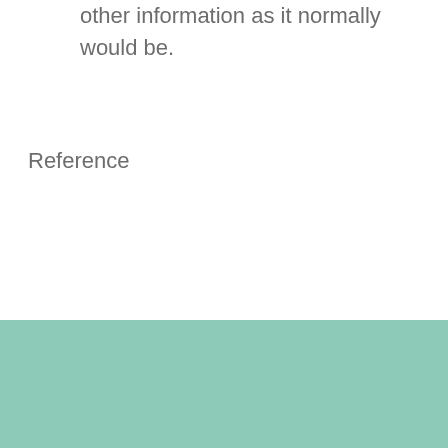information is not also shared with other information as it normally would be.
Reference
1. Gendlin, E. (1981). Focusing. New York: Bantam Books.